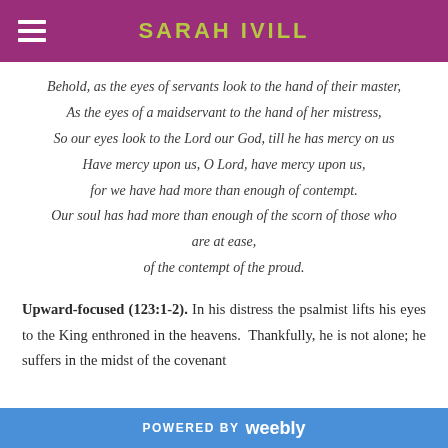SARAH IVILL
Behold, as the eyes of servants look to the hand of their master,
As the eyes of a maidservant to the hand of her mistress,
So our eyes look to the Lord our God, till he has mercy on us
Have mercy upon us, O Lord, have mercy upon us,
for we have had more than enough of contempt.
Our soul has had more than enough of the scorn of those who are at ease,
of the contempt of the proud.
Upward-focused (123:1-2). In his distress the psalmist lifts his eyes to the King enthroned in the heavens. Thankfully, he is not alone; he suffers in the midst of the covenant
POWERED BY weebly